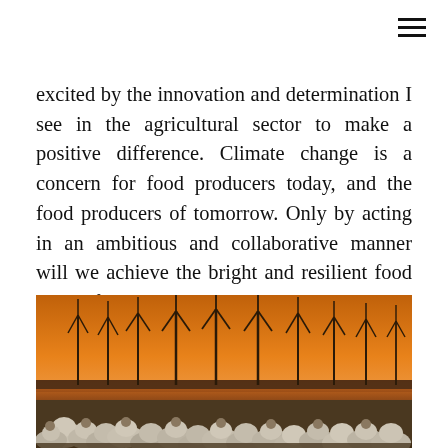excited by the innovation and determination I see in the agricultural sector to make a positive difference. Climate change is a concern for food producers today, and the food producers of tomorrow. Only by acting in an ambitious and collaborative manner will we achieve the bright and resilient food secure future that we all want.
[Figure (photo): A flock of sheep in the foreground at sunset, with numerous wind turbines silhouetted against an orange and purple sky, and a body of water or wetland in the middle ground.]